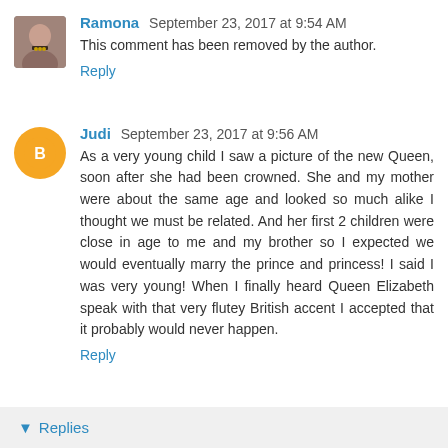[Figure (photo): Avatar photo of Ramona, a woman with short dark hair wearing a necklace, small square thumbnail]
Ramona  September 23, 2017 at 9:54 AM
This comment has been removed by the author.
Reply
[Figure (logo): Judi's avatar: orange circle with white Blogger 'B' icon]
Judi  September 23, 2017 at 9:56 AM
As a very young child I saw a picture of the new Queen, soon after she had been crowned. She and my mother were about the same age and looked so much alike I thought we must be related. And her first 2 children were close in age to me and my brother so I expected we would eventually marry the prince and princess! I said I was very young! When I finally heard Queen Elizabeth speak with that very flutey British accent I accepted that it probably would never happen.
Reply
▾ Replies